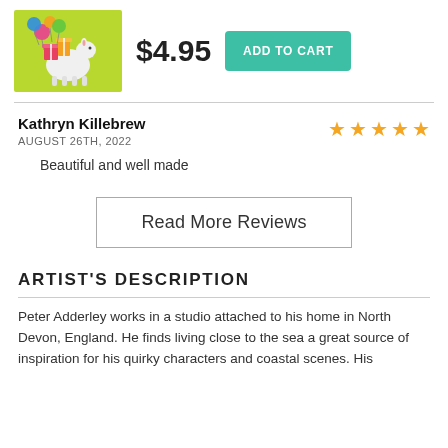[Figure (illustration): Colorful illustration of a llama or donkey with gifts/presents, on a bright green background]
$4.95
ADD TO CART
Kathryn Killebrew
AUGUST 26TH, 2022
4 out of 5 stars
Beautiful and well made
Read More Reviews
ARTIST'S DESCRIPTION
Peter Adderley works in a studio attached to his home in North Devon, England. He finds living close to the sea a great source of inspiration for his quirky characters and coastal scenes. His